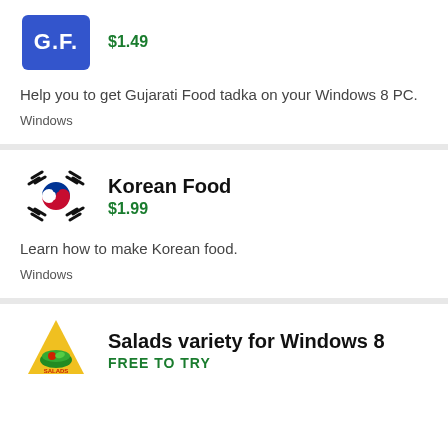[Figure (logo): GF app icon — blue square with white G.F. text]
$1.49
Help you to get Gujarati Food tadka on your Windows 8 PC.
Windows
[Figure (logo): Korean flag icon]
Korean Food
$1.99
Learn how to make Korean food.
Windows
[Figure (logo): Salads variety logo — triangle with salad bowl]
Salads variety for Windows 8
FREE TO TRY